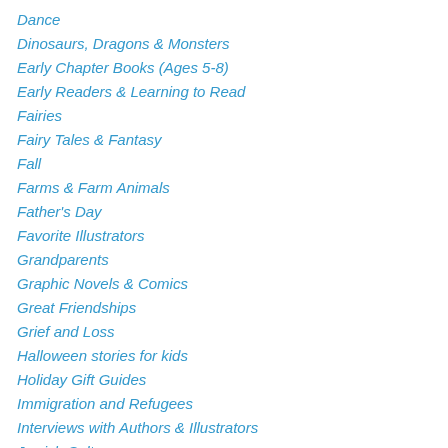Dance
Dinosaurs, Dragons & Monsters
Early Chapter Books (Ages 5-8)
Early Readers & Learning to Read
Fairies
Fairy Tales & Fantasy
Fall
Farms & Farm Animals
Father's Day
Favorite Illustrators
Grandparents
Graphic Novels & Comics
Great Friendships
Grief and Loss
Halloween stories for kids
Holiday Gift Guides
Immigration and Refugees
Interviews with Authors & Illustrators
Jewish Culture
Laugh Out Loud